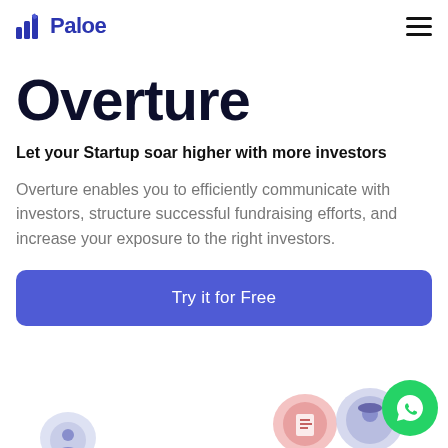Paloe
Overture
Let your Startup soar higher with more investors
Overture enables you to efficiently communicate with investors, structure successful fundraising efforts, and increase your exposure to the right investors.
Try it for Free
[Figure (illustration): Bottom illustration showing chat bubble icons and a WhatsApp button in the lower portion of the page]